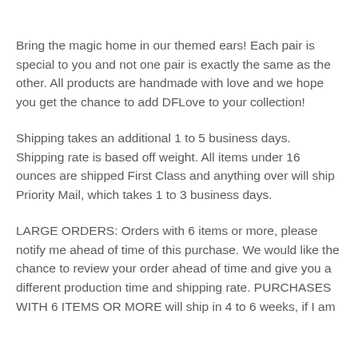Bring the magic home in our themed ears! Each pair is special to you and not one pair is exactly the same as the other. All products are handmade with love and we hope you get the chance to add DFLove to your collection!
Shipping takes an additional 1 to 5 business days. Shipping rate is based off weight. All items under 16 ounces are shipped First Class and anything over will ship Priority Mail, which takes 1 to 3 business days.
LARGE ORDERS: Orders with 6 items or more, please notify me ahead of time of this purchase. We would like the chance to review your order ahead of time and give you a different production time and shipping rate. PURCHASES WITH 6 ITEMS OR MORE will ship in 4 to 6 weeks, if I am